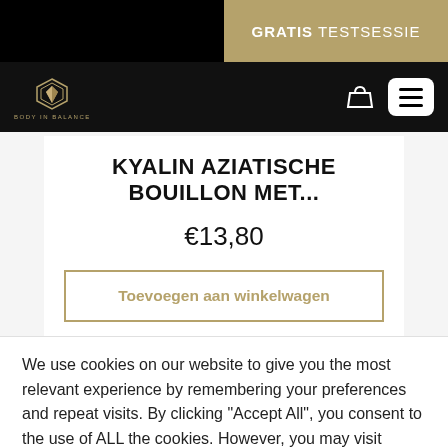GRATIS TESTSESSIE
[Figure (logo): Body in Balance logo with diamond/shield emblem in gold on black nav bar]
KYALIN AZIATISCHE BOUILLON MET...
€13,80
Toevoegen aan winkelwagen
We use cookies on our website to give you the most relevant experience by remembering your preferences and repeat visits. By clicking "Accept All", you consent to the use of ALL the cookies. However, you may visit "Cookie Settings" to provide a controlled consent.
Cookie Settings
Accept All